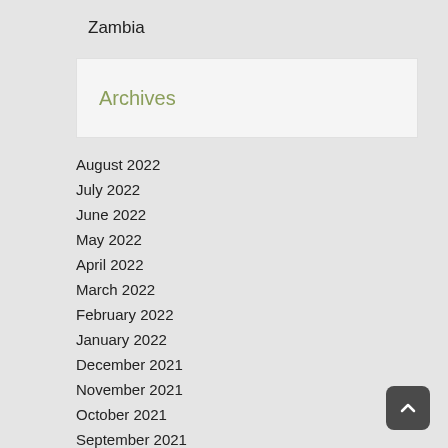Zambia
Archives
August 2022
July 2022
June 2022
May 2022
April 2022
March 2022
February 2022
January 2022
December 2021
November 2021
October 2021
September 2021